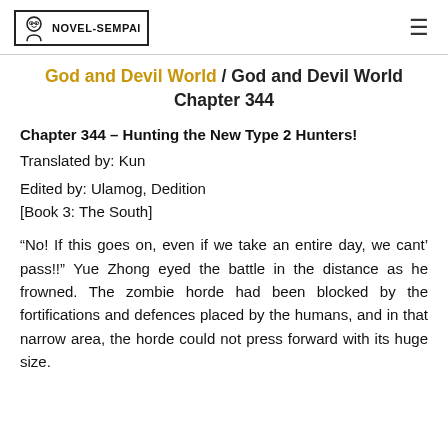NOVEL-SEMPAI
God and Devil World / God and Devil World Chapter 344
Chapter 344 – Hunting the New Type 2 Hunters!
Translated by: Kun
Edited by: Ulamog, Dedition
[Book 3: The South]
“No! If this goes on, even if we take an entire day, we cant’ pass!!” Yue Zhong eyed the battle in the distance as he frowned. The zombie horde had been blocked by the fortifications and defences placed by the humans, and in that narrow area, the horde could not press forward with its huge size.